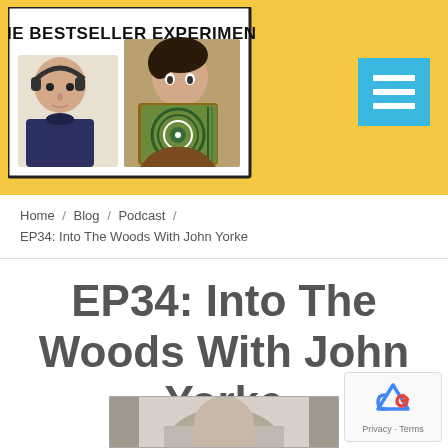[Figure (logo): The Bestseller Experiment podcast logo banner with two men — one wearing headphones, one holding a book — on a yellow background]
Home / Blog / Podcast / EP34: Into The Woods With John Yorke
EP34: Into The Woods With John Yorke
[Figure (photo): Partial black and white photo of a person, cropped at the bottom of the page]